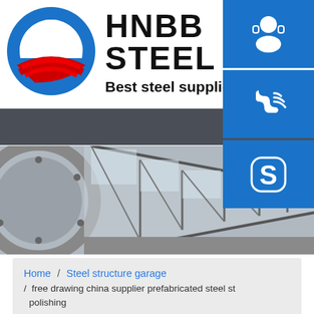[Figure (logo): HNBB Steel logo with circular blue/red emblem and text 'HNBB STEEL / Best steel supplie']
[Figure (photo): Interior of a steel structure building/tunnel with arched steel framework and glass roof panels]
[Figure (infographic): Three blue square contact buttons on right side: headset/customer service icon, phone icon, Skype icon]
Home / Steel structure garage / free drawing china supplier prefabricated steel st polishing